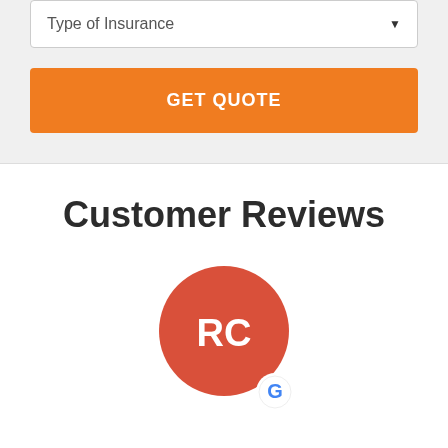Type of Insurance
GET QUOTE
Customer Reviews
[Figure (illustration): Red circular avatar with white initials 'RC' and a Google 'G' badge at the bottom right]